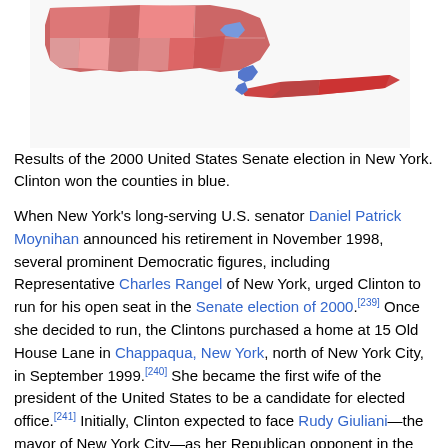[Figure (map): Choropleth map of New York State showing results of the 2000 United States Senate election by county. Most counties shaded in shades of red (Republican), with a few counties in blue (Clinton/Democrat), including New York City area counties.]
Results of the 2000 United States Senate election in New York. Clinton won the counties in blue.
When New York's long-serving U.S. senator Daniel Patrick Moynihan announced his retirement in November 1998, several prominent Democratic figures, including Representative Charles Rangel of New York, urged Clinton to run for his open seat in the Senate election of 2000.[239] Once she decided to run, the Clintons purchased a home at 15 Old House Lane in Chappaqua, New York, north of New York City, in September 1999.[240] She became the first wife of the president of the United States to be a candidate for elected office.[241] Initially, Clinton expected to face Rudy Giuliani—the mayor of New York City—as her Republican opponent in the election. Giuliani withdrew from the race in May 2000 after being diagnosed with prostate cancer and matters related to